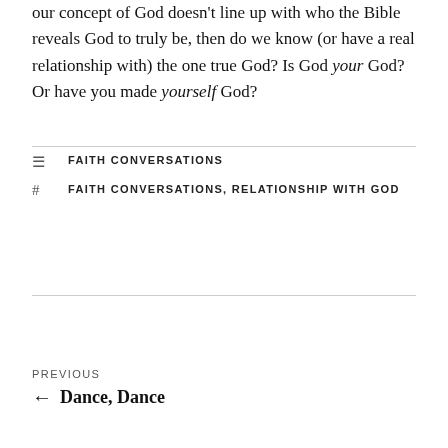our concept of God doesn't line up with who the Bible reveals God to truly be, then do we know (or have a real relationship with) the one true God? Is God your God? Or have you made yourself God?
FAITH CONVERSATIONS
FAITH CONVERSATIONS, RELATIONSHIP WITH GOD
PREVIOUS
← Dance, Dance